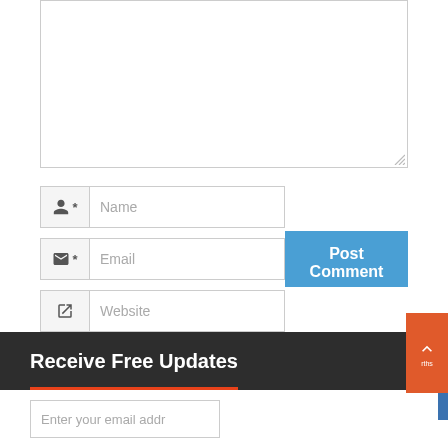[Figure (screenshot): Comment form area with a large textarea (comment input box), Name field with person icon and asterisk, Email field with envelope icon and asterisk, Website field with external link icon, and a blue Post Comment button.]
Name
Email
Website
Post Comment
Receive Free Updates
Enter your email addr